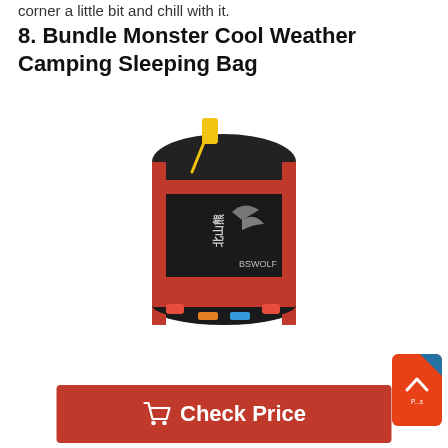corner a little bit and chill with it.
8. Bundle Monster Cool Weather Camping Sleeping Bag
[Figure (photo): A black and red cylindrical sleeping bag compression sack with yellow drawstring cord and red straps, featuring a logo with Chinese characters and a bird silhouette.]
Check Price